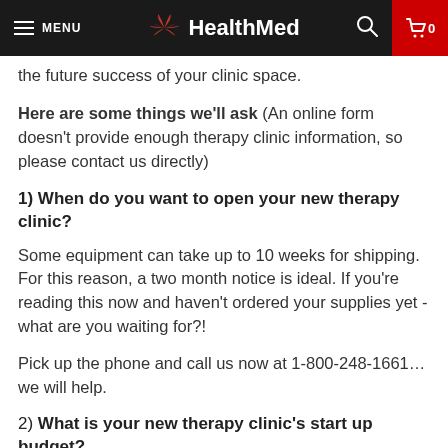MENU  HealthMed  0
the future success of your clinic space.
Here are some things we'll ask (An online form doesn't provide enough therapy clinic information, so please contact us directly)
1) When do you want to open your new therapy clinic?
Some equipment can take up to 10 weeks for shipping. For this reason, a two month notice is ideal. If you're reading this now and haven't ordered your supplies yet - what are you waiting for?!
Pick up the phone and call us now at 1-800-248-1661… we will help.
2) What is your new therapy clinic's start up budget?